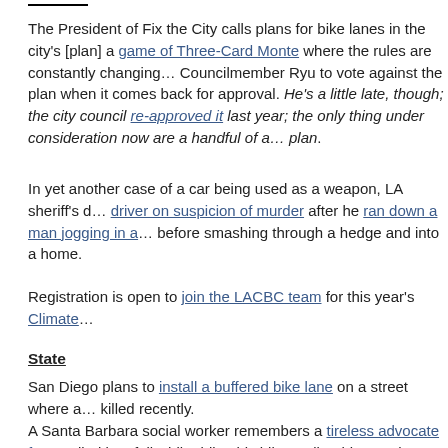The President of Fix the City calls plans for bike lanes in the city's [plan] a game of Three-Card Monte where the rules are constantly changing... Councilmember Ryu to vote against the plan when it comes back for approval. He's a little late, though; the city council re-approved [it] last year; the only thing under consideration now are a handful of amendments to the plan.
In yet another case of a car being used as a weapon, LA sheriff's deputies arrested a driver on suspicion of murder after he ran down a man jogging in a Malibu neighborhood before smashing through a hedge and into a home.
Registration is open to join the LACBC team for this year's Climate Ride...
State
San Diego plans to install a buffered bike lane on a street where a cyclist was killed recently.
A Santa Barbara social worker remembers a tireless advocate for transportation who died in a fall while riding his bike earlier this month.